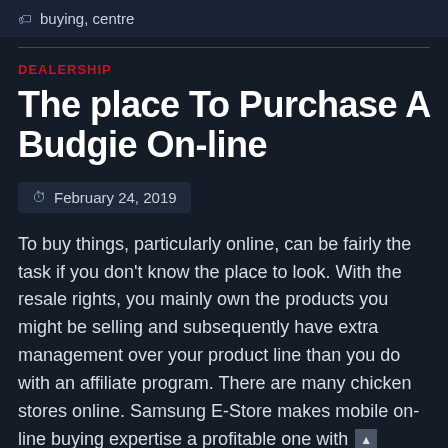buying, centre
DEALERSHIP
The place To Purchase A Budgie On-line
February 24, 2019
To buy things, particularly online, can be fairly the task if you don't know the place to look. With the resale rights, you mainly own the products you might be selling and subsequently have extra management over your product line than you do with an affiliate program. There are many chicken stores online. Samsung E-Store makes mobile on-line buying expertise a profitable one with further and occasional presents tailor-made just for you.